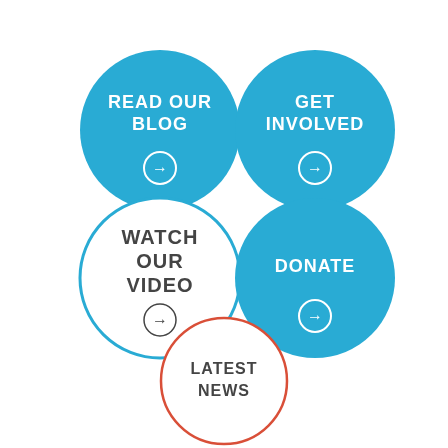[Figure (infographic): Five circular buttons: 'READ OUR BLOG' (blue filled), 'GET INVOLVED' (blue filled), 'WATCH OUR VIDEO' (white with blue border), 'DONATE' (blue filled), 'LATEST NEWS' (white with red border). Each has an arrow icon except LATEST NEWS.]